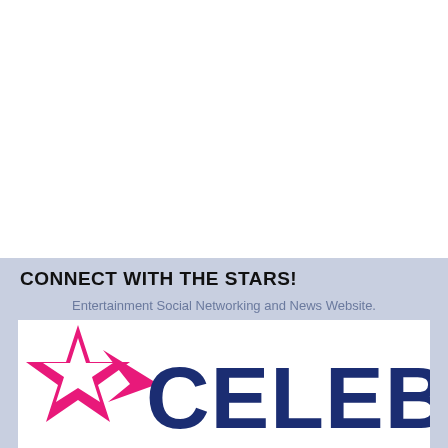CONNECT WITH THE STARS!
Entertainment Social Networking and News Website.
[Figure (logo): CelebTV logo: pink star with white star outline on left, bold dark blue text reading CELEB partially visible on right]